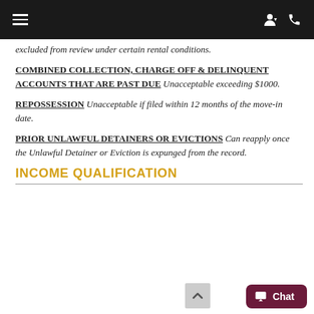navigation bar with hamburger menu and icons
excluded from review under certain rental conditions.
COMBINED COLLECTION, CHARGE OFF & DELINQUENT ACCOUNTS THAT ARE PAST DUE Unacceptable exceeding $1000.
REPOSSESSION Unacceptable if filed within 12 months of the move-in date.
PRIOR UNLAWFUL DETAINERS OR EVICTIONS Can reapply once the Unlawful Detainer or Eviction is expunged from the record.
INCOME QUALIFICATION